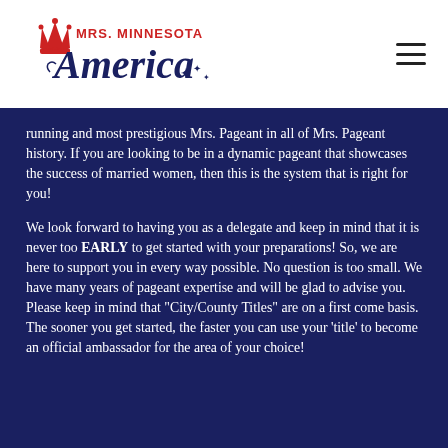[Figure (logo): Mrs. Minnesota America logo with crown icon in red and script/serif text in dark navy blue]
running and most prestigious Mrs. Pageant in all of Mrs. Pageant history. If you are looking to be in a dynamic pageant that showcases the success of married women, then this is the system that is right for you!
We look forward to having you as a delegate and keep in mind that it is never too EARLY to get started with your preparations! So, we are here to support you in every way possible. No question is too small. We have many years of pageant expertise and will be glad to advise you. Please keep in mind that "City/County Titles" are on a first come basis. The sooner you get started, the faster you can use your 'title' to become an official ambassador for the area of your choice!